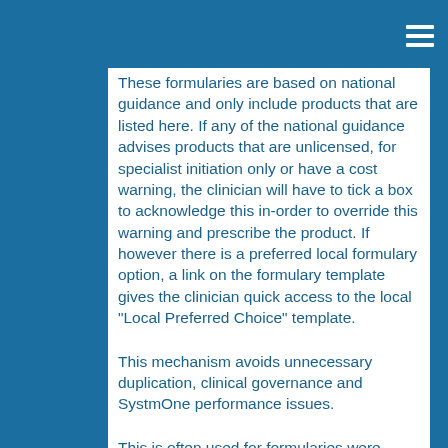These formularies are based on national guidance and only include products that are listed here. If any of the national guidance advises products that are unlicensed, for specialist initiation only or have a cost warning, the clinician will have to tick a box to acknowledge this in-order to override this warning and prescribe the product. If however there is a preferred local formulary option, a link on the formulary template gives the clinician quick access to the local "Local Preferred Choice" template.
This mechanism avoids unnecessary duplication, clinical governance and SystmOne performance issues.
This is often used for formularies were there are a wide range of different products which may be used for several different indications. An example of this would be the creams and ointments